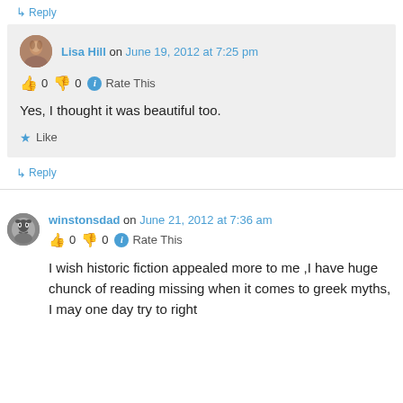↳ Reply
Lisa Hill on June 19, 2012 at 7:25 pm
👍 0 👎 0 ℹ Rate This
Yes, I thought it was beautiful too.
★ Like
↳ Reply
winstonsdad on June 21, 2012 at 7:36 am
👍 0 👎 0 ℹ Rate This
I wish historic fiction appealed more to me ,I have huge chunck of reading missing when it comes to greek myths, I may one day try to right